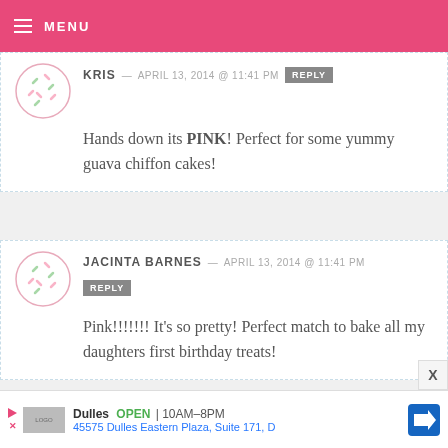≡ MENU
KRIS — APRIL 13, 2014 @ 11:41 PM [REPLY]
Hands down its PINK! Perfect for some yummy guava chiffon cakes!
JACINTA BARNES — APRIL 13, 2014 @ 11:41 PM [REPLY]
Pink!!!!!!! It's so pretty! Perfect match to bake all my daughters first birthday treats!
Dulles OPEN 10AM–8PM 45575 Dulles Eastern Plaza, Suite 171, D